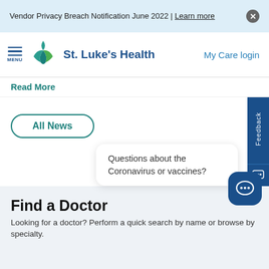Vendor Privacy Breach Notification June 2022 | Learn more
[Figure (logo): St. Luke's Health logo with green/teal star icon and blue text, with hamburger MENU icon on left and My Care login on right]
Read More
All News
Questions about the Coronavirus or vaccines?
Find a Doctor
Looking for a doctor? Perform a quick search by name or browse by specialty.